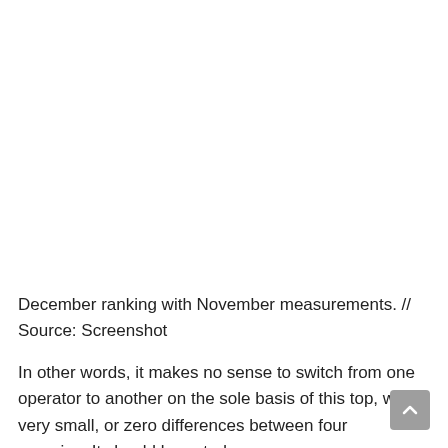December ranking with November measurements. // Source: Screenshot
In other words, it makes no sense to switch from one operator to another on the sole basis of this top, with very small, or zero differences between four enemies. It should be noted,